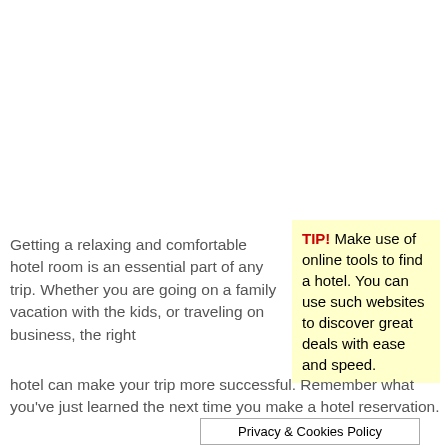Getting a relaxing and comfortable hotel room is an essential part of any trip. Whether you are going on a family vacation with the kids, or traveling on business, the right hotel can make your trip more successful. Remember what you've just learned the next time you make a hotel reservation.
TIP! Make use of online tools to find a hotel. You can use such websites to discover great deals with ease and speed.
Privacy & Cookies Policy